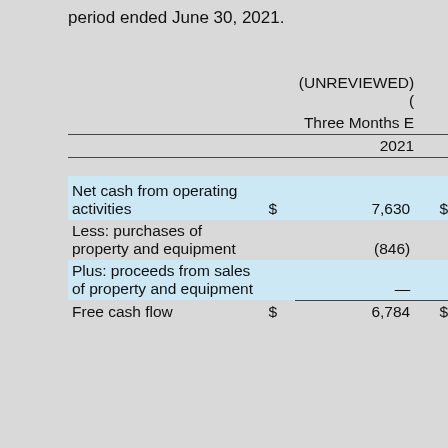period ended June 30, 2021.
|  |  | (UNREVIEWED) ( Three Months E 2021 |  |
| --- | --- | --- | --- |
| Net cash from operating activities | $ | 7,630 | $ |
| Less: purchases of property and equipment |  | (846) |  |
| Plus: proceeds from sales of property and equipment |  | — |  |
| Free cash flow | $ | 6,784 | $ |